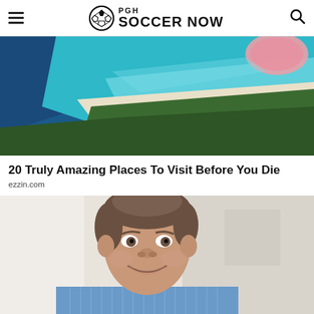PGH SOCCER NOW
[Figure (photo): Aerial view of a beach with turquoise water, white sand, green forest, and a pink lake in the upper right corner]
20 Truly Amazing Places To Visit Before You Die
ezzin.com
[Figure (photo): Portrait of a smiling middle-aged man with brown hair wearing a blue striped shirt, photographed in a bright indoor setting]